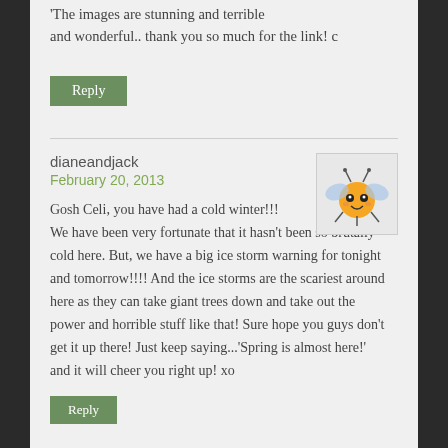'The images are stunning and terrible and wonderful.. thank you so much for the link! c
Reply
dianeandjack
February 20, 2013
[Figure (illustration): Small cartoon drawing of an orange bug-like creature with wings and antennae on a light grey background]
Gosh Celi, you have had a cold winter!!! We have been very fortunate that it hasn't been so brutally cold here. But, we have a big ice storm warning for tonight and tomorrow!!!! And the ice storms are the scariest around here as they can take giant trees down and take out the power and horrible stuff like that! Sure hope you guys don't get it up there! Just keep saying...'Spring is almost here!' and it will cheer you right up! xo
Reply